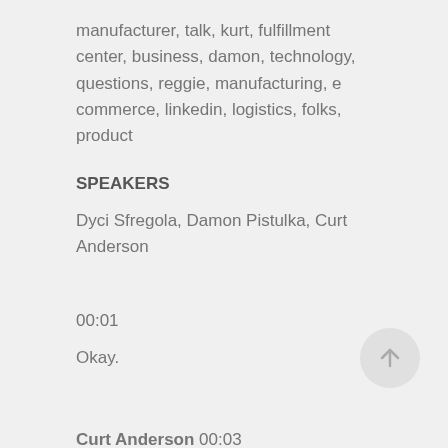manufacturer, talk, kurt, fulfillment center, business, damon, technology, questions, reggie, manufacturing, e commerce, linkedin, logistics, folks, product
SPEAKERS
Dyci Sfregola, Damon Pistulka, Curt Anderson
00:01
Okay.
Curt Anderson  00:03